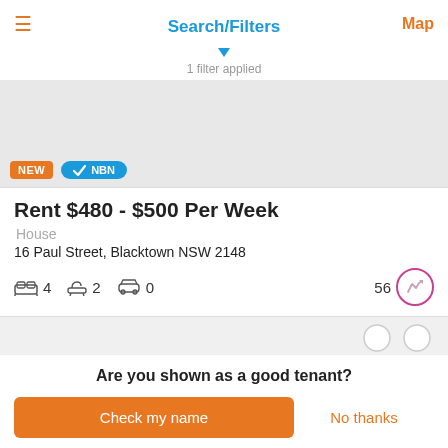Search/Filters
1 filter applied
[Figure (screenshot): Listing image area showing property photo placeholder with NEW badge and NBN badge]
Rent $480 - $500 Per Week
House
16 Paul Street, Blacktown NSW 2148
4 bedrooms, 2 bathrooms, 0 car spaces, score 56
Are you shown as a good tenant?
Check my name
No thanks